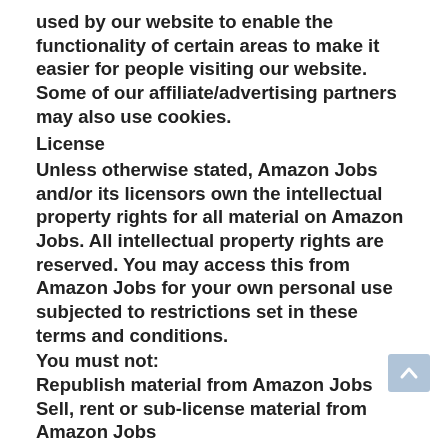used by our website to enable the functionality of certain areas to make it easier for people visiting our website. Some of our affiliate/advertising partners may also use cookies.
License
Unless otherwise stated, Amazon Jobs and/or its licensors own the intellectual property rights for all material on Amazon Jobs. All intellectual property rights are reserved. You may access this from Amazon Jobs for your own personal use subjected to restrictions set in these terms and conditions.
You must not:
Republish material from Amazon Jobs
Sell, rent or sub-license material from Amazon Jobs
Reproduce, duplicate or copy material from Amazon Jobs
Redistribute content from Amazon Jobs
This Agreement shall begin on the date hereof.
Parts of this website offer an opportunity for users to post and exchange opinions and information in